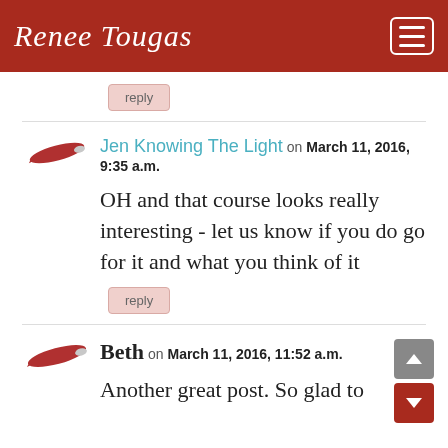Renee Tougas
reply
Jen Knowing The Light on March 11, 2016, 9:35 a.m.
OH and that course looks really interesting - let us know if you do go for it and what you think of it
reply
Beth on March 11, 2016, 11:52 a.m.
Another great post. So glad to have y